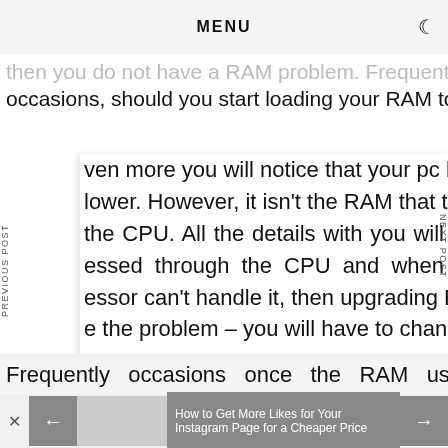MENU
then you do not have a RAM problem. Frequently occasions, should you start loading your RAM to 80% ven more you will notice that your pc begin lower. However, it isn't the RAM that triggers the CPU. All the details with you will essed through the CPU and when essor can't handle it, then upgrading RAM w e the problem – you will have to change .
PREVIOUS POST
NEXT POST
Frequently occasions once the RAM usage
How to Get More Likes for Your Instagram Page for a Cheaper Price